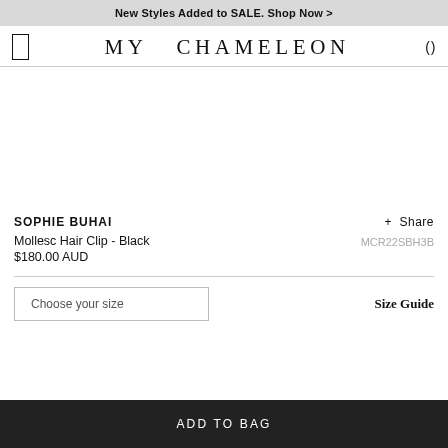New Styles Added to SALE. Shop Now >
[Figure (logo): My Chameleon brand logo with navigation icons]
SOPHIE BUHAI
+ Share
Mollesc Hair Clip - Black
$180.00 AUD
MCR22SBH3B
Choose your size
Size Guide
ADD TO BAG